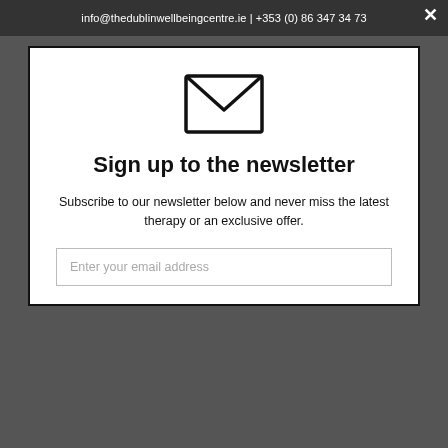info@thedublinwellbeingcentre.ie | +353 (0) 86 347 34 73
[Figure (illustration): Envelope/email icon — a rectangle with a V-shaped fold line inside, representing an email]
Sign up to the newsletter
Subscribe to our newsletter below and never miss the latest therapy or an exclusive offer.
Enter your email address